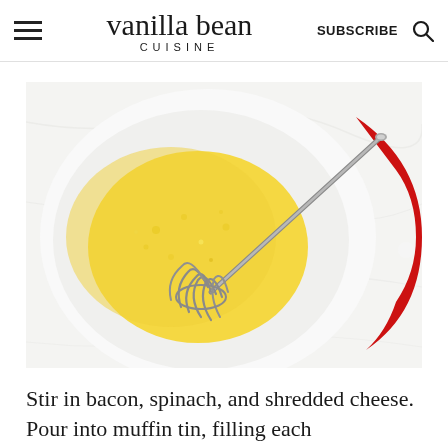vanilla bean CUISINE | SUBSCRIBE | Search
[Figure (photo): Overhead view of a white ceramic bowl with a red rim containing whisked yellow eggs, with a stainless steel whisk resting inside, on a white marble surface.]
Stir in bacon, spinach, and shredded cheese. Pour into muffin tin, filling each